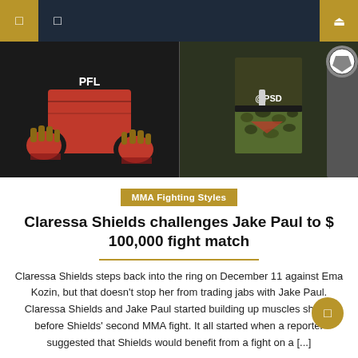Navigation bar with icons
[Figure (photo): Two-panel hero image: left panel shows a fighter in red PFL shorts with gloves, right panel shows a fighter in camo PSD shorts at a weigh-in]
MMA Fighting Styles
Claressa Shields challenges Jake Paul to $ 100,000 fight match
Claressa Shields steps back into the ring on December 11 against Ema Kozin, but that doesn't stop her from trading jabs with Jake Paul. Claressa Shields and Jake Paul started building up muscles shortly before Shields' second MMA fight. It all started when a reporter suggested that Shields would benefit from a fight on a [...]
November 19, 2021  Johnnie Hill  Comments Off